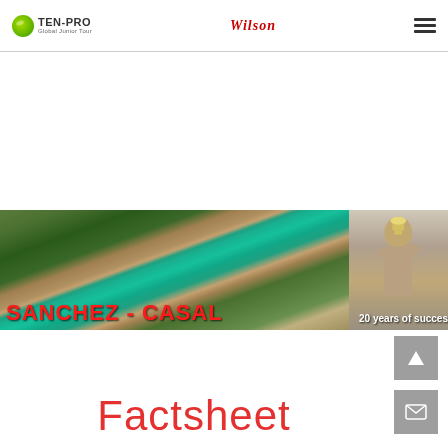TEN-PRO Global Junior Tour | Wilson | Navigation menu
[Figure (photo): Banner image: aerial view of tennis courts on the left (about 78% width) with text 'SANCHEZ - CASAL' in large red bold letters, and a portrait of a tennis player holding a trophy on the right with text '20 years of succes']
Factsheet